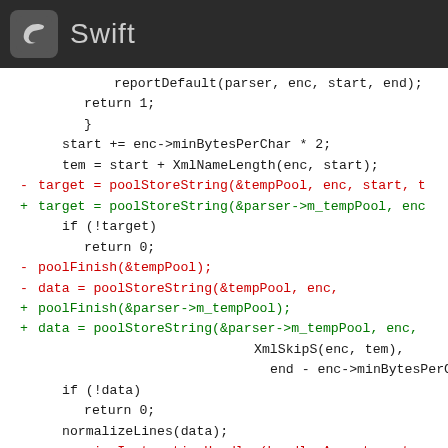Swift
Code diff snippet showing Swift source code with additions and deletions related to poolStoreString, poolFinish, and processingInstructionHandler functions.